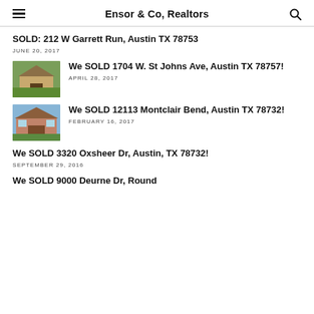Ensor & Co, Realtors
SOLD: 212 W Garrett Run, Austin TX 78753
JUNE 20, 2017
[Figure (photo): Photo of a house with green lawn and trees]
We SOLD 1704 W. St Johns Ave, Austin TX 78757!
APRIL 28, 2017
[Figure (photo): Photo of a brick house with blue sky]
We SOLD 12113 Montclair Bend, Austin TX 78732!
FEBRUARY 16, 2017
We SOLD 3320 Oxsheer Dr, Austin, TX 78732!
SEPTEMBER 29, 2016
We SOLD 9000 Deurne Dr, Round